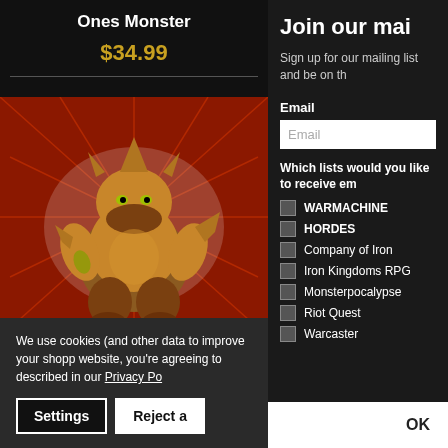Ones Monster
$34.99
ADD TO CART
[Figure (photo): Monsterpocalypse monster figure — armored beast creature with orange/brown coloring, claws, on a red/white burst background]
Join our mai
Sign up for our mailing list and be on th
Email
Which lists would you like to receive em
WARMACHINE
HORDES
Company of Iron
Iron Kingdoms RPG
Monsterpocalypse
Riot Quest
Warcaster
We use cookies (and other data to improve your shopp website, you're agreeing to described in our Privacy Po
Settings
Reject a
OK